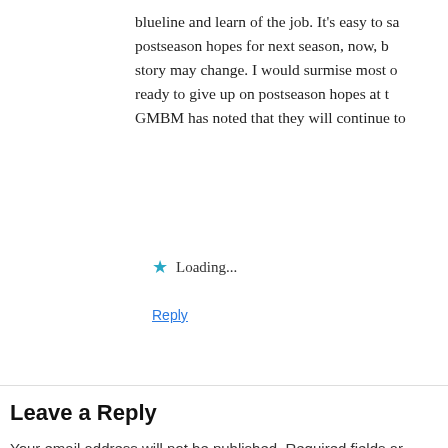blueline and learn of the job. It's easy to say postseason hopes for next season, now, but the story may change. I would surmise most of ready to give up on postseason hopes at t GMBM has noted that they will continue to
Loading...
Reply
Leave a Reply
Your email address will not be published. Required fields ar
Comment *